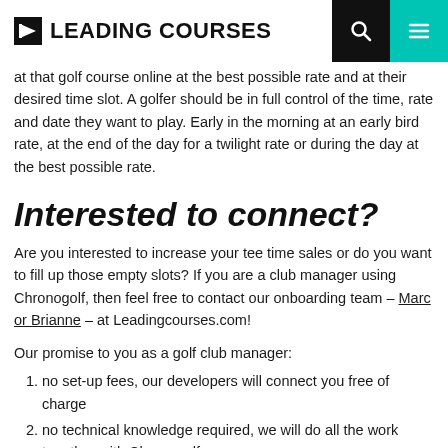LEADING COURSES
at that golf course online at the best possible rate and at their desired time slot. A golfer should be in full control of the time, rate and date they want to play. Early in the morning at an early bird rate, at the end of the day for a twilight rate or during the day at the best possible rate.
Interested to connect?
Are you interested to increase your tee time sales or do you want to fill up those empty slots? If you are a club manager using Chronogolf, then feel free to contact our onboarding team – Marc or Brianne – at Leadingcourses.com!
Our promise to you as a golf club manager:
no set-up fees, our developers will connect you free of charge
no technical knowledge required, we will do all the work together with Chronogolf
you only pay us a commission when the golfer has